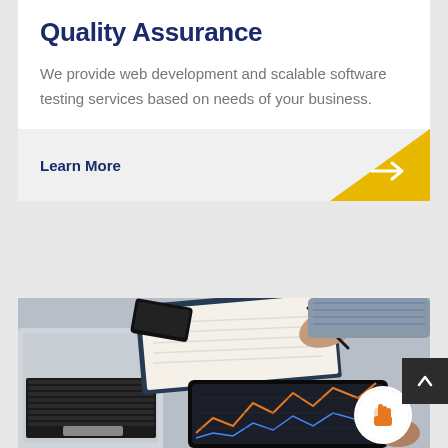Quality Assurance
We provide web development and scalable software testing services based on needs of your business.
Learn More
[Figure (photo): Workspace scene showing a laptop keyboard, notebook, smartphone, and a tablet displaying a financial chart with a person writing and another touching the tablet screen.]
[Figure (illustration): Orange/yellow hand icon with a cursor or pointer symbol in a white circle at the bottom right of the photo section.]